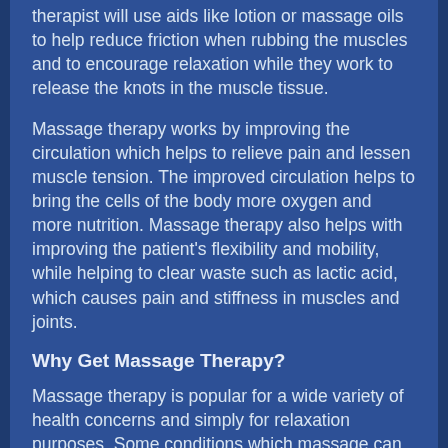therapist will use aids like lotion or massage oils to help reduce friction when rubbing the muscles and to encourage relaxation while they work to release the knots in the muscle tissue.
Massage therapy works by improving the circulation which helps to relieve pain and lessen muscle tension. The improved circulation helps to bring the cells of the body more oxygen and more nutrition. Massage therapy also helps with improving the patient's flexibility and mobility, while helping to clear waste such as lactic acid, which causes pain and stiffness in muscles and joints.
Why Get Massage Therapy?
Massage therapy is popular for a wide variety of health concerns and simply for relaxation purposes. Some conditions which massage can be beneficial include: back pain, stress-relief, stress-related conditions, headaches, migraines, circulatory issues, respiratory issues, repetitive strain-related injuries